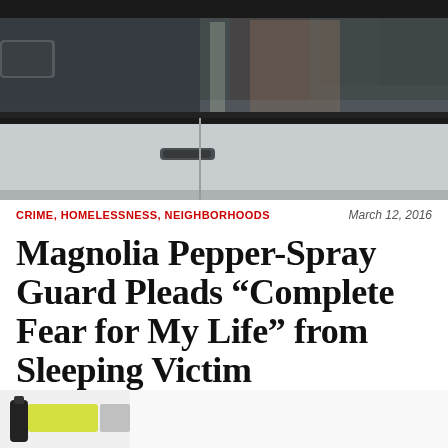[Figure (photo): Side view of a silver/white SUV or van parked on a street, showing side mirror, windows, and door handle. The windows reflect trees and buildings.]
CRIME, HOMELESSNESS, NEIGHBORHOODS    March 12, 2016
Magnolia Pepper-Spray Guard Pleads “Complete Fear for My Life” from Sleeping Victim
[Figure (photo): Partial bottom image, appears to show a pepper spray canister on a white surface.]